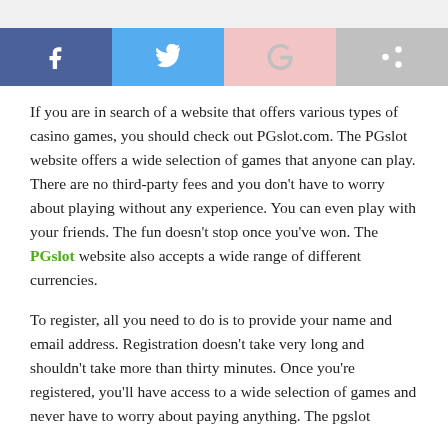[Figure (other): Social sharing buttons row: Facebook (dark blue), Twitter (light blue), Google+ (light pink), Share/forward (grey)]
If you are in search of a website that offers various types of casino games, you should check out PGslot.com. The PGslot website offers a wide selection of games that anyone can play. There are no third-party fees and you don't have to worry about playing without any experience. You can even play with your friends. The fun doesn't stop once you've won. The PGslot website also accepts a wide range of different currencies.
To register, all you need to do is to provide your name and email address. Registration doesn't take very long and shouldn't take more than thirty minutes. Once you're registered, you'll have access to a wide selection of games and never have to worry about paying anything. The pgslot